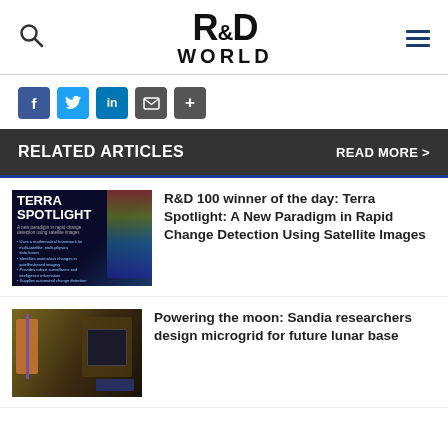R&D WORLD
[Figure (infographic): Social share buttons: Facebook, Twitter, LinkedIn, Email, Plus]
RELATED ARTICLES    READ MORE >
[Figure (photo): Terra Spotlight article thumbnail showing dark background with TERRA SPOTLIGHT text and bullet points]
R&D 100 winner of the day: Terra Spotlight: A New Paradigm in Rapid Change Detection Using Satellite Images
[Figure (photo): Sandia researchers working at computer equipment for microgrid design]
Powering the moon: Sandia researchers design microgrid for future lunar base